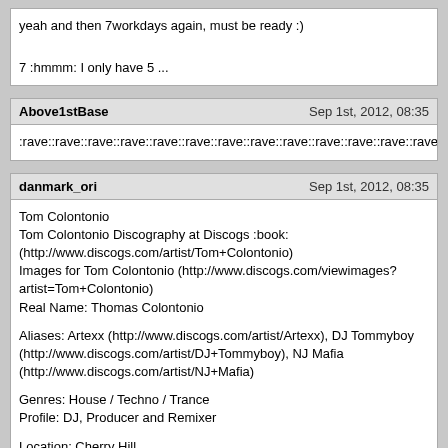yeah and then 7workdays again, must be ready :)
7 :hmmm: I only have 5 ...
Above1stBase
Sep 1st, 2012, 08:35
:rave::rave::rave::rave::rave::rave::rave::rave::rave::rave::rave::rave::rave::rave::rave::
danmark_ori
Sep 1st, 2012, 08:35
Tom Colontonio
Tom Colontonio Discography at Discogs :book:
(http://www.discogs.com/artist/Tom+Colontonio)
Images for Tom Colontonio (http://www.discogs.com/viewimages?artist=Tom+Colontonio)
Real Name: Thomas Colontonio

Aliases: Artexx (http://www.discogs.com/artist/Artexx), DJ Tommyboy (http://www.discogs.com/artist/DJ+Tommyboy), NJ Mafia (http://www.discogs.com/artist/NJ+Mafia)

Genres: House / Techno / Trance
Profile: DJ, Producer and Remixer

Location: Cherry Hill (http://en.wikipedia.org/wiki/Cherry_Hill_Township,_New_Jersey), New Jersey (http://en.wikipedia.org/wiki/New_Jersey), USA (http://en.wikipedia.org/wiki/United_States)